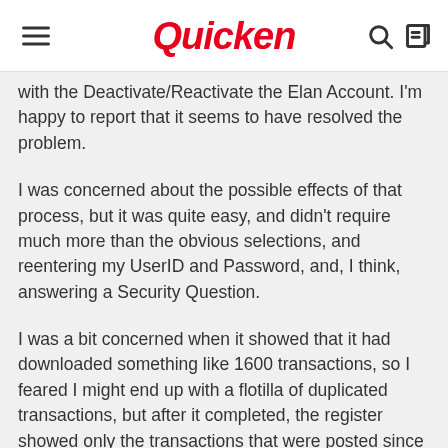Quicken
with the Deactivate/Reactivate the Elan Account. I'm happy to report that it seems to have resolved the problem.
I was concerned about the possible effects of that process, but it was quite easy, and didn't require much more than the obvious selections, and reentering my UserID and Password, and, I think, answering a Security Question.
I was a bit concerned when it showed that it had downloaded something like 1600 transactions, so I feared I might end up with a flotilla of duplicated transactions, but after it completed, the register showed only the transactions that were posted since the